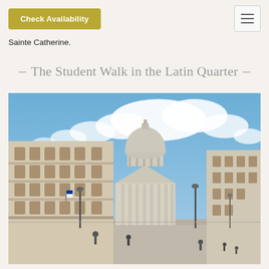Sainte Catherine.
– The Student Walk in the Latin Quarter –
[Figure (photo): Street-level view of the Latin Quarter in Paris, with classical Haussmann-style buildings on the left, the Panthéon dome visible in the center-background, street lamps, pedestrians, and a dramatic blue sky with white clouds.]